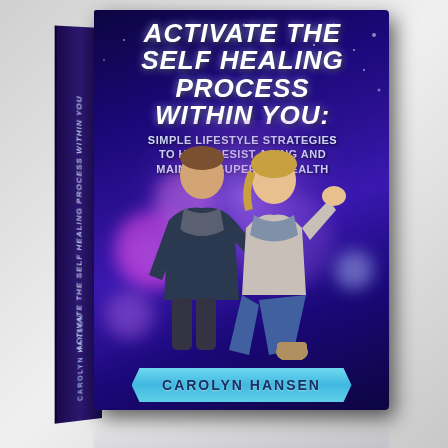[Figure (illustration): 3D book cover for 'Activate The Self Healing Process Within You: Simple Lifestyle Strategies To Help Resist Aging And Maintain Superior Health' by Carolyn Hansen. The book has a dark purple/indigo cover with bokeh light effects in pink and purple, showing a man and woman in a joyful pose. The book spine shows the title text vertically. A light blue ribbon banner at the bottom displays the author name Carolyn Hansen. The book shows a reflection beneath it on a reflective surface.]